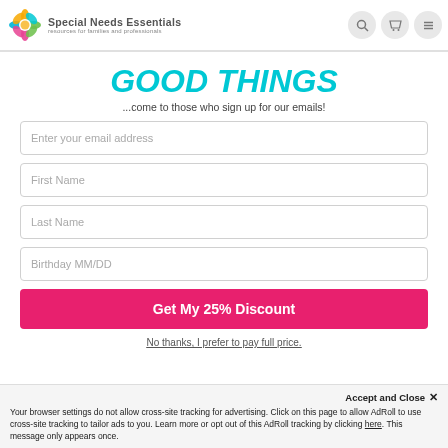[Figure (logo): Special Needs Essentials logo with colorful flower/sunburst icon and text 'Special Needs Essentials - resources for families and professionals']
GOOD THINGS
...come to those who sign up for our emails!
Enter your email address
First Name
Last Name
Birthday MM/DD
Get My 25% Discount
No thanks, I prefer to pay full price.
Accept and Close ✕
Your browser settings do not allow cross-site tracking for advertising. Click on this page to allow AdRoll to use cross-site tracking to tailor ads to you. Learn more or opt out of this AdRoll tracking by clicking here. This message only appears once.